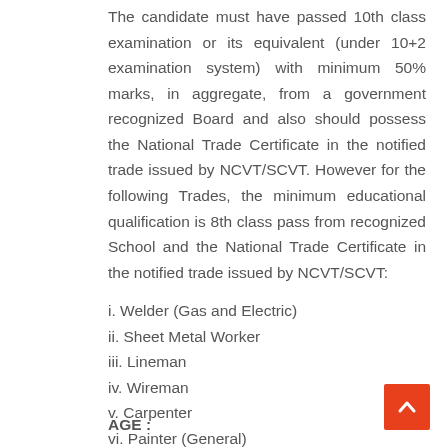The candidate must have passed 10th class examination or its equivalent (under 10+2 examination system) with minimum 50% marks, in aggregate, from a government recognized Board and also should possess the National Trade Certificate in the notified trade issued by NCVT/SCVT. However for the following Trades, the minimum educational qualification is 8th class pass from recognized School and the National Trade Certificate in the notified trade issued by NCVT/SCVT:
i. Welder (Gas and Electric)
ii. Sheet Metal Worker
iii. Lineman
iv. Wireman
v. Carpenter
vi. Painter (General)
AGE :